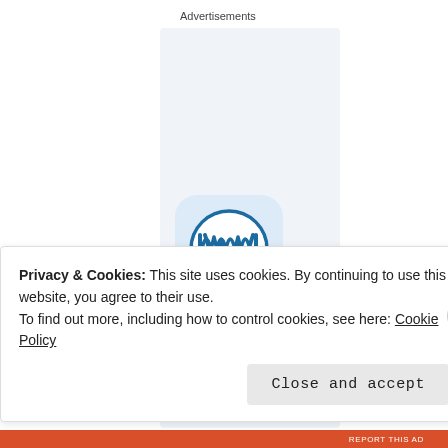Advertisements
[Figure (logo): WordPress logo icon — blue circle with W letter on light blue rounded square background]
Build a writing
Privacy & Cookies: This site uses cookies. By continuing to use this website, you agree to their use.
To find out more, including how to control cookies, see here: Cookie Policy
Close and accept